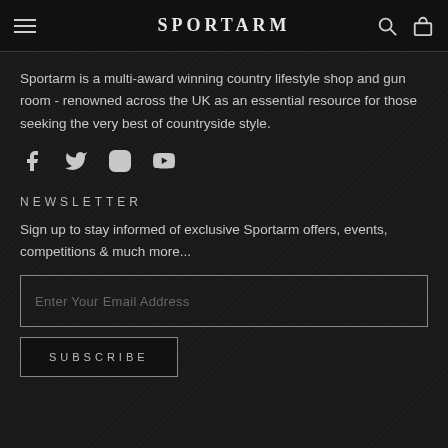SPORTARM
Sportarm is a multi-award winning country lifestyle shop and gun room - renowned across the UK as an essential resource for those seeking the very best of countryside style.
[Figure (illustration): Social media icons: Facebook, Twitter, Instagram, YouTube]
NEWSLETTER
Sign up to stay informed of exclusive Sportarm offers, events, competitions & much more...
Enter Your Email Address
SUBSCRIBE